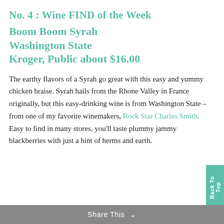No. 4 : Wine FIND of the Week
Boom Boom Syrah
Washington State
Kroger, Public about $16.00
The earthy flavors of a Syrah go great with this easy and yummy chicken braise. Syrah hails from the Rhone Valley in France originally, but this easy-drinking wine is from Washington State – from one of my favorite winemakers, Rock Star Charles Smith. Easy to find in many stores, you'll taste plummy jammy blackberries with just a hint of herms and earth.
Share This ∨